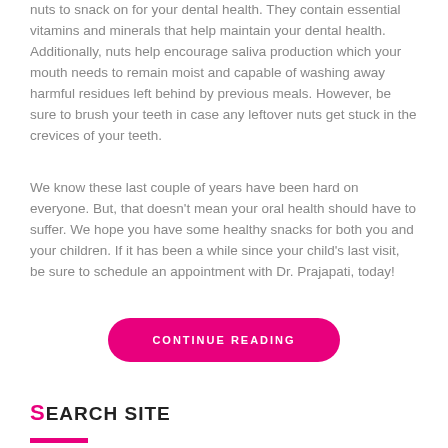nuts to snack on for your dental health. They contain essential vitamins and minerals that help maintain your dental health. Additionally, nuts help encourage saliva production which your mouth needs to remain moist and capable of washing away harmful residues left behind by previous meals. However, be sure to brush your teeth in case any leftover nuts get stuck in the crevices of your teeth.
We know these last couple of years have been hard on everyone. But, that doesn't mean your oral health should have to suffer. We hope you have some healthy snacks for both you and your children. If it has been a while since your child's last visit, be sure to schedule an appointment with Dr. Prajapati, today!
[Figure (other): A pink/magenta pill-shaped button with the text CONTINUE READING in white uppercase letters]
SEARCH SITE